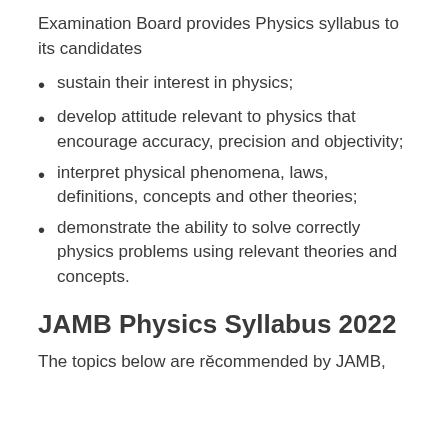Examination Board provides Physics syllabus to its candidates
sustain their interest in physics;
develop attitude relevant to physics that encourage accuracy, precision and objectivity;
interpret physical phenomena, laws, definitions, concepts and other theories;
demonstrate the ability to solve correctly physics problems using relevant theories and concepts.
JAMB Physics Syllabus 2022
The topics below are recommended by JAMB,